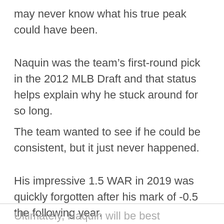may never know what his true peak could have been.
Naquin was the team’s first-round pick in the 2012 MLB Draft and that status helps explain why he stuck around for so long.
The team wanted to see if he could be consistent, but it just never happened.
His impressive 1.5 WAR in 2019 was quickly forgotten after his mark of -0.5 the following year.
Ultimately, Naquin will be best remembered for